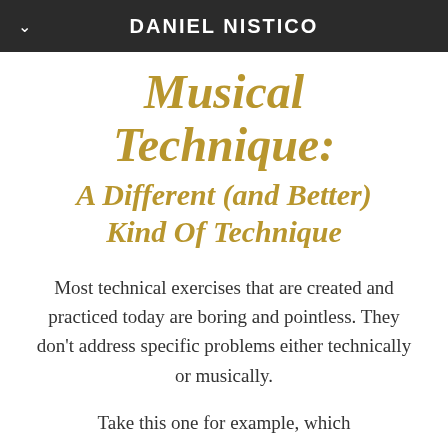DANIEL NISTICO
Musical Technique: A Different (and Better) Kind Of Technique
Most technical exercises that are created and practiced today are boring and pointless. They don't address specific problems either technically or musically.
Take this one for example, which